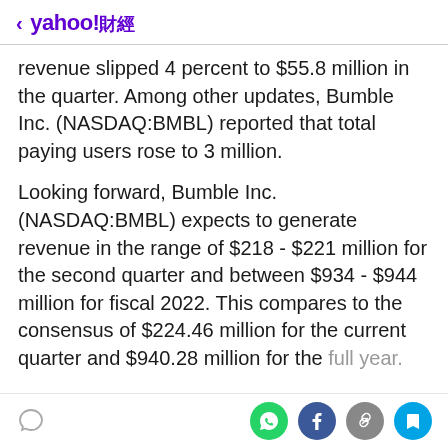< yahoo!財經
revenue slipped 4 percent to $55.8 million in the quarter. Among other updates, Bumble Inc. (NASDAQ:BMBL) reported that total paying users rose to 3 million.
Looking forward, Bumble Inc. (NASDAQ:BMBL) expects to generate revenue in the range of $218 - $221 million for the second quarter and between $934 - $944 million for fiscal 2022. This compares to the consensus of $224.46 million for the current quarter and $940.28 million for the full year.
comment icon | WhatsApp | Facebook | Link | Bookmark